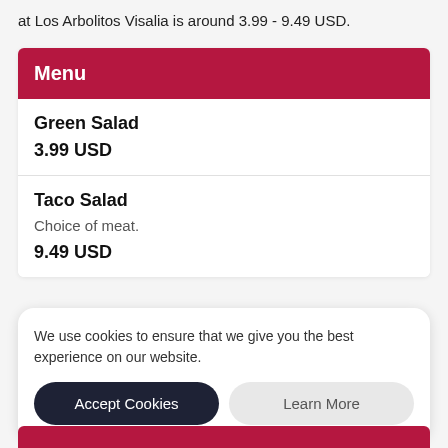at Los Arbolitos Visalia is around 3.99 - 9.49 USD.
Menu
| Item | Description | Price |
| --- | --- | --- |
| Green Salad |  | 3.99 USD |
| Taco Salad | Choice of meat. | 9.49 USD |
We use cookies to ensure that we give you the best experience on our website.
Accept Cookies
Learn More